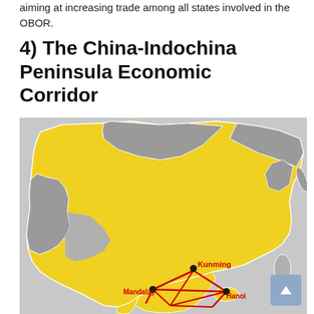aiming at increasing trade among all states involved in the OBOR.
4) The China-Indochina Peninsula Economic Corridor
[Figure (map): Map showing China and surrounding Asian countries. China and some neighboring regions are highlighted in yellow. Red route lines show the China-Indochina Peninsula Economic Corridor connecting Kunming to cities including Mandalay and Hanoi on the Indochina Peninsula.]